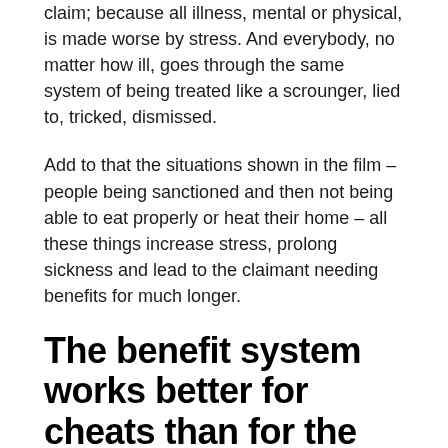claim; because all illness, mental or physical, is made worse by stress. And everybody, no matter how ill, goes through the same system of being treated like a scrounger, lied to, tricked, dismissed.
Add to that the situations shown in the film – people being sanctioned and then not being able to eat properly or heat their home – all these things increase stress, prolong sickness and lead to the claimant needing benefits for much longer.
The benefit system works better for cheats than for the seriously ill – so the sick become cheats
The system is designed to be illogical and exhausting in order to put off bogus claimants. The problem with this is